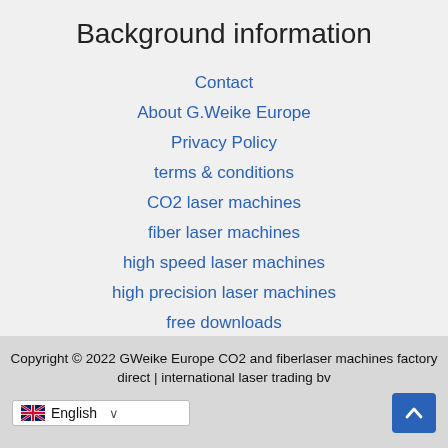Background information
Contact
About G.Weike Europe
Privacy Policy
terms & conditions
CO2 laser machines
fiber laser machines
high speed laser machines
high precision laser machines
free downloads
Copyright © 2022 GWeike Europe CO2 and fiberlaser machines factory direct | international laser trading bv